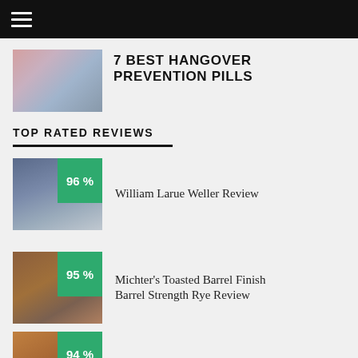≡ (menu)
7 BEST HANGOVER PREVENTION PILLS
TOP RATED REVIEWS
William Larue Weller Review (96%)
Michter's Toasted Barrel Finish Barrel Strength Rye Review (95%)
Four Roses Limited Edition Small (94%)